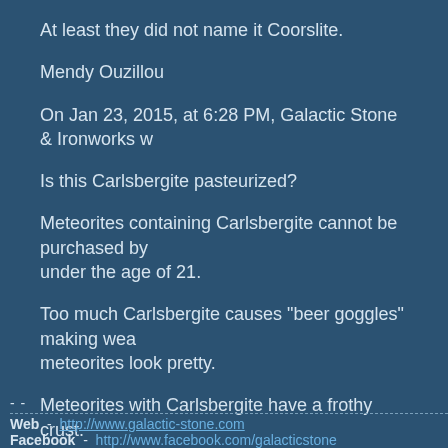At least they did not name it Coorslite.
Mendy Ouzillou
On Jan 23, 2015, at 6:28 PM, Galactic Stone & Ironworks w
Is this Carlsbergite pasteurized?
Meteorites containing Carlsbergite cannot be purchased by under the age of 21.
Too much Carlsbergite causes "beer goggles" making wea meteorites look pretty.
Meteorites with Carlsbergite have a frothy crust.
Somebody stop me....
- -
Web - http://www.galactic-stone.com
Facebook - http://www.facebook.com/galacticstone